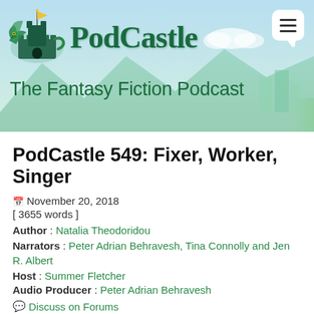[Figure (logo): PodCastle logo with castle illustration and stylized text, subtitle 'The Fantasy Fiction Podcast' on a fantasy landscape background]
PodCastle 549: Fixer, Worker, Singer
November 20, 2018
[ 3655 words ]
Author : Natalia Theodoridou
Narrators : Peter Adrian Behravesh, Tina Connolly and Jen R. Albert
Host : Summer Fletcher
Audio Producer : Peter Adrian Behravesh
Discuss on Forums
Originally published at Shimmer.